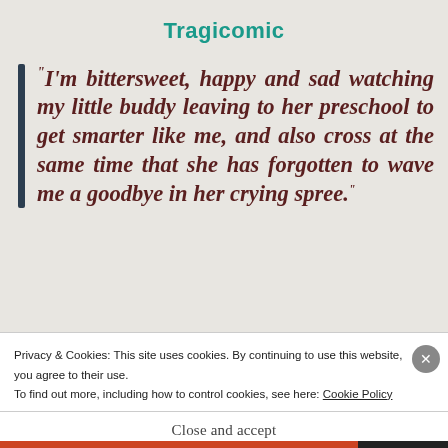Tragicomic
“I’m bittersweet, happy and sad watching my little buddy leaving to her preschool to get smarter like me, and also cross at the same time that she has forgotten to wave me a goodbye in her crying spree.”
Privacy & Cookies: This site uses cookies. By continuing to use this website, you agree to their use.
To find out more, including how to control cookies, see here: Cookie Policy
Close and accept